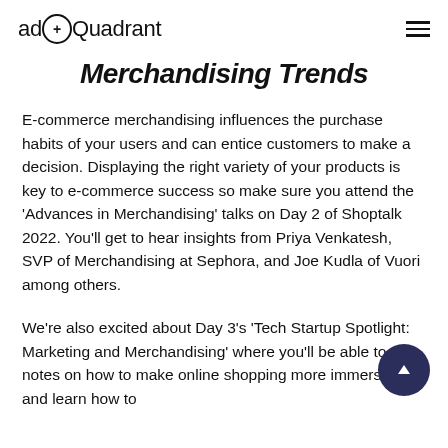adQuadrant
Merchandising Trends
E-commerce merchandising influences the purchase habits of your users and can entice customers to make a decision. Displaying the right variety of your products is key to e-commerce success so make sure you attend the ‘Advances in Merchandising’ talks on Day 2 of Shoptalk 2022. You’ll get to hear insights from Priya Venkatesh, SVP of Merchandising at Sephora, and Joe Kudla of Vuori among others.
We’re also excited about Day 3’s ‘Tech Startup Spotlight: Marketing and Merchandising’ where you’ll be able to take notes on how to make online shopping more immersive and learn how to